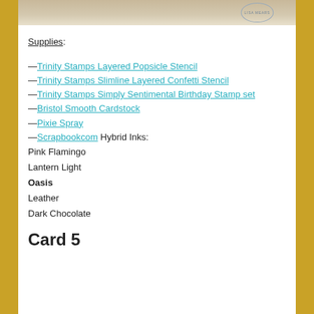[Figure (photo): Top partial photo strip showing a crafting scene with a circular stamp/badge reading 'LISA MEARS']
Supplies:
—Trinity Stamps Layered Popsicle Stencil
—Trinity Stamps Slimline Layered Confetti Stencil
—Trinity Stamps Simply Sentimental Birthday Stamp set
—Bristol Smooth Cardstock
—Pixie Spray
—Scrapbookcom Hybrid Inks:
Pink Flamingo
Lantern Light
Oasis
Leather
Dark Chocolate
Card 5